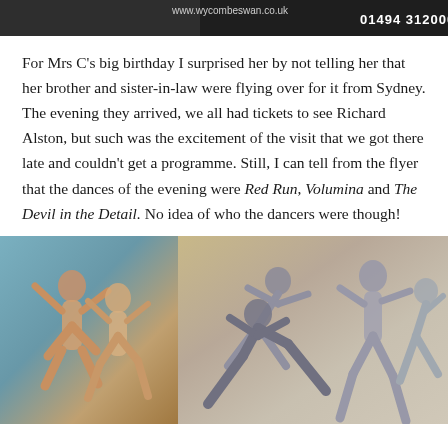[Figure (photo): Top banner showing website www.wycombeswan.co.uk and phone number 01494 312000 on a dark background]
For Mrs C's big birthday I surprised her by not telling her that her brother and sister-in-law were flying over for it from Sydney. The evening they arrived, we all had tickets to see Richard Alston, but such was the excitement of the visit that we got there late and couldn't get a programme. Still, I can tell from the flyer that the dances of the evening were Red Run, Volumina and The Devil in the Detail. No idea of who the dancers were though!
[Figure (photo): Two photos of dancers side by side. Left: two dancers in warm-toned costumes performing a partnered pose against a blue-grey background. Right: multiple dancers in casual clothing performing dynamic, overlapping movements against a warm-toned background.]